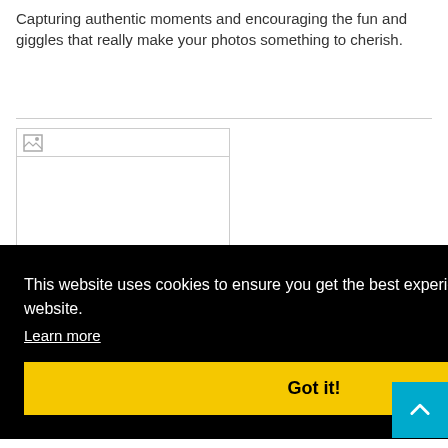Capturing authentic moments and encouraging the fun and giggles that really make your photos something to cherish.
[Figure (photo): A broken image placeholder with a small icon in the top-left corner, shown inside a bordered box.]
This website uses cookies to ensure you get the best experience on our website. Learn more
Got it!
price suit
photographer. I take great pride in capturing the real person with